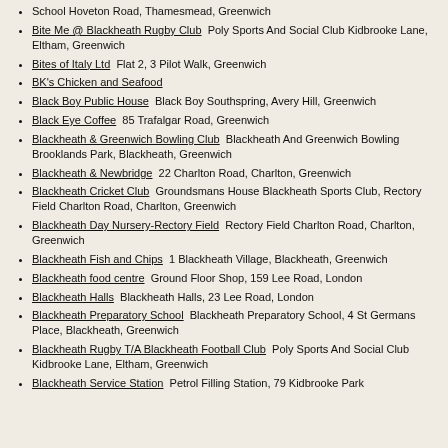School Hoveton Road, Thamesmead, Greenwich
Bite Me @ Blackheath Rugby Club  Poly Sports And Social Club Kidbrooke Lane, Eltham, Greenwich
Bites of Italy Ltd  Flat 2, 3 Pilot Walk, Greenwich
BK's Chicken and Seafood
Black Boy Public House  Black Boy Southspring, Avery Hill, Greenwich
Black Eye Coffee  85 Trafalgar Road, Greenwich
Blackheath & Greenwich Bowling Club  Blackheath And Greenwich Bowling Brooklands Park, Blackheath, Greenwich
Blackheath & Newbridge  22 Charlton Road, Charlton, Greenwich
Blackheath Cricket Club  Groundsmans House Blackheath Sports Club, Rectory Field Charlton Road, Charlton, Greenwich
Blackheath Day Nursery-Rectory Field  Rectory Field Charlton Road, Charlton, Greenwich
Blackheath Fish and Chips  1 Blackheath Village, Blackheath, Greenwich
Blackheath food centre  Ground Floor Shop, 159 Lee Road, London
Blackheath Halls  Blackheath Halls, 23 Lee Road, London
Blackheath Preparatory School  Blackheath Preparatory School, 4 St Germans Place, Blackheath, Greenwich
Blackheath Rugby T/A Blackheath Football Club  Poly Sports And Social Club Kidbrooke Lane, Eltham, Greenwich
Blackheath Service Station  Petrol Filling Station, 79 Kidbrooke Park